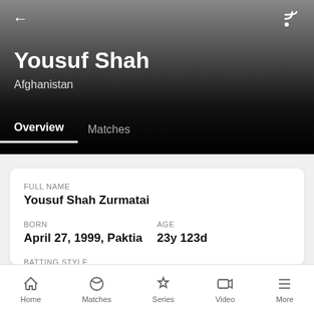Yousuf Shah — Afghanistan
Overview   Matches
FULL NAME
Yousuf Shah Zurmatai
BORN
April 27, 1999, Paktia
AGE
23y 123d
BATTING STYLE
Right hand Bat
Home   Matches   Series   Video   More